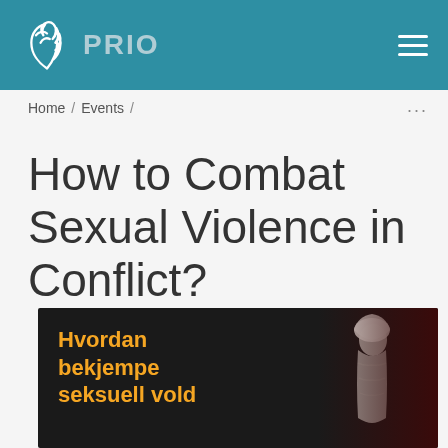PRIO
Home / Events /
How to Combat Sexual Violence in Conflict?
[Figure (photo): Dark background image showing a silhouetted figure in white with Norwegian text overlay reading 'Hvordan bekjempe seksuell vold' in orange]